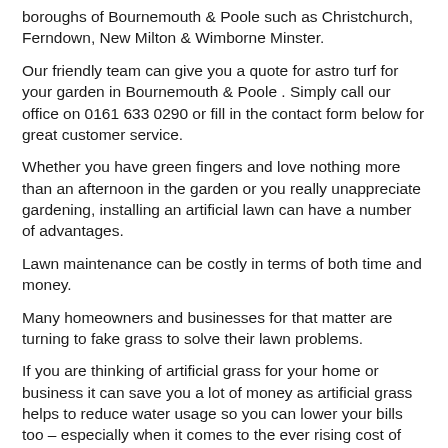boroughs of Bournemouth & Poole such as Christchurch, Ferndown, New Milton & Wimborne Minster.
Our friendly team can give you a quote for astro turf for your garden in Bournemouth & Poole . Simply call our office on 0161 633 0290 or fill in the contact form below for great customer service.
Whether you have green fingers and love nothing more than an afternoon in the garden or you really unappreciate gardening, installing an artificial lawn can have a number of advantages.
Lawn maintenance can be costly in terms of both time and money.
Many homeowners and businesses for that matter are turning to fake grass to solve their lawn problems.
If you are thinking of artificial grass for your home or business it can save you a lot of money as artificial grass helps to reduce water usage so you can lower your bills too – especially when it comes to the ever rising cost of our domestic utilities.
We all want the added benefit of a great looking lawn.
Unfortunately, having a well groomed outdoor space is often quite expensive but the great news is that the modern alternative of artificial grass helps to lower lawn maintenance bills.